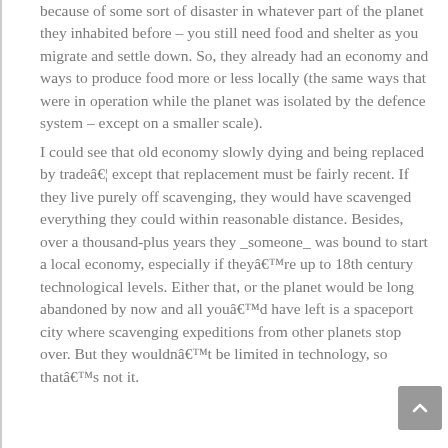because of some sort of disaster in whatever part of the planet they inhabited before – you still need food and shelter as you migrate and settle down. So, they already had an economy and ways to produce food more or less locally (the same ways that were in operation while the planet was isolated by the defence system – except on a smaller scale).
I could see that old economy slowly dying and being replaced by tradeâ€¦ except that replacement must be fairly recent. If they live purely off scavenging, they would have scavenged everything they could within reasonable distance. Besides, over a thousand-plus years they _someone_ was bound to start a local economy, especially if theyâ€™re up to 18th century technological levels. Either that, or the planet would be long abandoned by now and all youâ€™d have left is a spaceport city where scavenging expeditions from other planets stop over. But they wouldnâ€™t be limited in technology, so thatâ€™s not it.